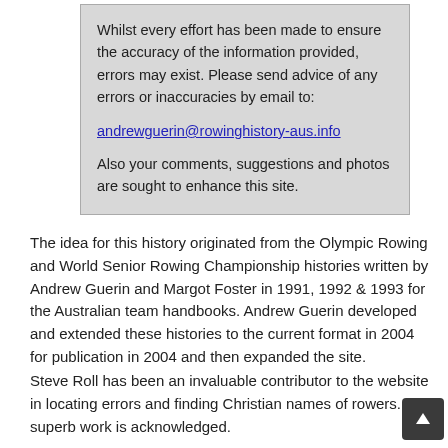Whilst every effort has been made to ensure the accuracy of the information provided, errors may exist. Please send advice of any errors or inaccuracies by email to:
andrewguerin@rowinghistory-aus.info
Also your comments, suggestions and photos are sought to enhance this site.
The idea for this history originated from the Olympic Rowing and World Senior Rowing Championship histories written by Andrew Guerin and Margot Foster in 1991, 1992 & 1993 for the Australian team handbooks. Andrew Guerin developed and extended these histories to the current format in 2004 for publication in 2004 and then expanded the site.
Steve Roll has been an invaluable contributor to the website in locating errors and finding Christian names of rowers. His superb work is acknowledged.